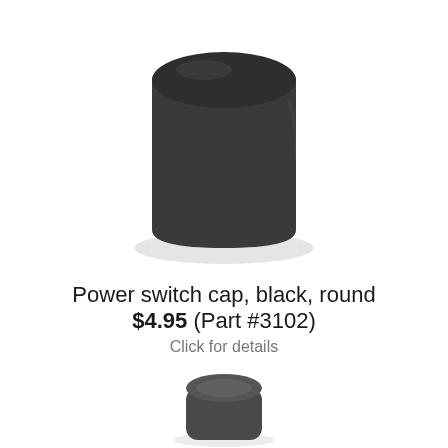[Figure (photo): A black cylindrical power switch cap viewed from a slight angle, showing the flat top and rounded body, photographed on a white background with subtle shadow.]
Power switch cap, black, round
$4.95 (Part #3102)
Click for details
[Figure (photo): Partial view of a second component (metallic/dark colored small part) at the bottom of the page, partially cropped.]